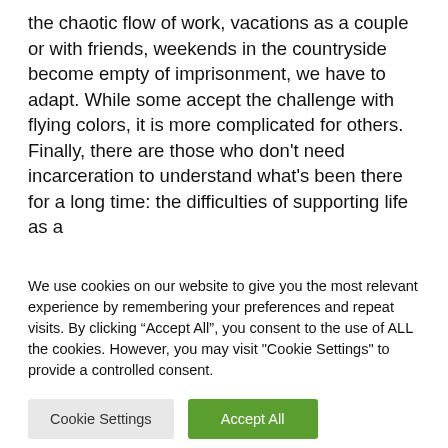the chaotic flow of work, vacations as a couple or with friends, weekends in the countryside become empty of imprisonment, we have to adapt. While some accept the challenge with flying colors, it is more complicated for others. Finally, there are those who don't need incarceration to understand what's been there for a long time: the difficulties of supporting life as a
We use cookies on our website to give you the most relevant experience by remembering your preferences and repeat visits. By clicking “Accept All”, you consent to the use of ALL the cookies. However, you may visit "Cookie Settings" to provide a controlled consent.
Cookie Settings | Accept All